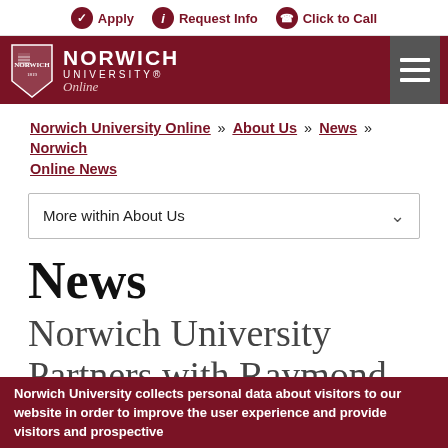Apply | Request Info | Click to Call
[Figure (logo): Norwich University Online logo with shield crest, white text on dark red background, hamburger menu icon]
Norwich University Online » About Us » News » Norwich Online News
More within About Us
News
Norwich University Partners with Raymond
Norwich University collects personal data about visitors to our website in order to improve the user experience and provide visitors and prospective